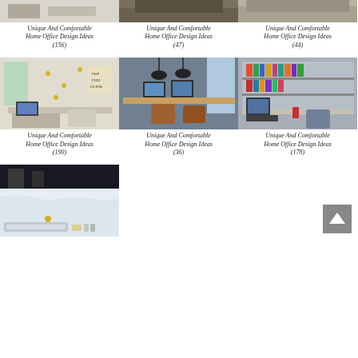[Figure (photo): Home office with white walls (partial, top cropped)]
[Figure (photo): Home office with wooden desk (partial, top cropped)]
[Figure (photo): Home office with bookshelves (partial, top cropped)]
Unique And Comfortable Home Office Design Ideas (156)
Unique And Comfortable Home Office Design Ideas (47)
Unique And Comfortable Home Office Design Ideas (44)
[Figure (photo): Home office with white walls, gold polka dots, laptop on desk, colorful items]
[Figure (photo): Home office with double wooden desk, industrial pendant lamps, two monitors]
[Figure (photo): Home office with large bookshelf, computer desk, purple chair]
Unique And Comfortable Home Office Design Ideas (190)
Unique And Comfortable Home Office Design Ideas (36)
Unique And Comfortable Home Office Design Ideas (178)
[Figure (photo): Bathroom or utility area with white plastic wrap and bathtub visible]
[Figure (infographic): Back to top button (arrow icon, grey square)]